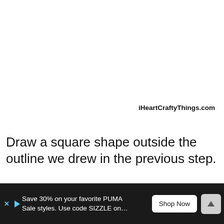iHeartCraftyThings.com
Draw a square shape outside the outline we drew in the previous step.
[Figure (infographic): Advertisement banner: black background with text 'Save 30% on your favorite PUMA Sale styles. Use code SIZZLE on...' with a 'Shop Now' button and a scroll-up arrow button on the right. Ad close icons (X and play triangle) on the left.]